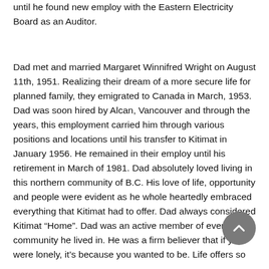until he found new employ with the Eastern Electricity Board as an Auditor.
Dad met and married Margaret Winnifred Wright on August 11th, 1951. Realizing their dream of a more secure life for planned family, they emigrated to Canada in March, 1953. Dad was soon hired by Alcan, Vancouver and through the years, this employment carried him through various positions and locations until his transfer to Kitimat in January 1956. He remained in their employ until his retirement in March of 1981. Dad absolutely loved living in this northern community of B.C. His love of life, opportunity and people were evident as he whole heartedly embraced everything that Kitimat had to offer. Dad always considered Kitimat “Home”. Dad was an active member of every community he lived in. He was a firm believer that if you were lonely, it’s because you wanted to be. Life offers so